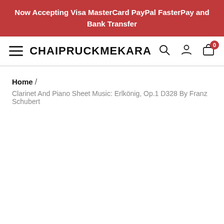Now Accepting Visa MasterCard PayPal FasterPay and Bank Transfer
CHAIPRUCKMEKARA
Home / Clarinet And Piano Sheet Music: Erlkönig, Op.1 D328 By Franz Schubert